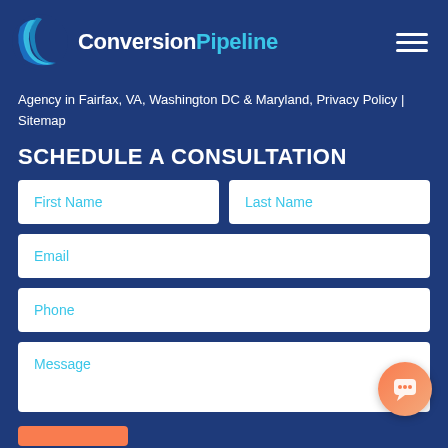[Figure (logo): Conversion Pipeline logo with blue crescent wave icon and text 'ConversionPipeline' where 'Pipeline' is in cyan]
Agency in Fairfax, VA, Washington DC & Maryland, Privacy Policy | Sitemap
SCHEDULE A CONSULTATION
First Name
Last Name
Email
Phone
Message